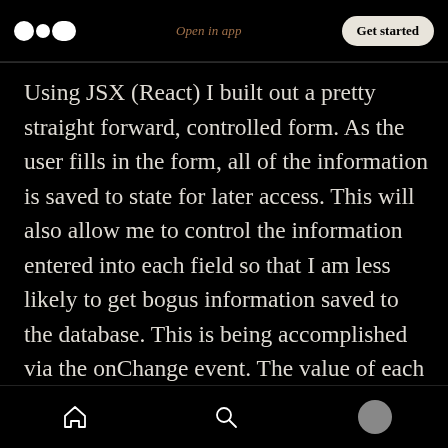Open in app  Get started
Using JSX (React) I built out a pretty straight forward, controlled form. As the user fills in the form, all of the information is saved to state for later access. This will also allow me to control the information entered into each field so that I am less likely to get bogus information saved to the database. This is being accomplished via the onChange event. The value of each field is equal to the value of it's corresponding key in state. As the user enters information the handleChange function is triggered and dynamically sets the
Home  Search  Profile